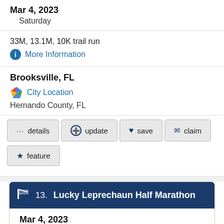Mar 4, 2023
Saturday
33M, 13.1M, 10K trail run
More Information
Brooksville, FL
City Location
Hernando County, FL
details
update
save
claim
feature
13. Lucky Leprechaun Half Marathon
Mar 4, 2023
Saturday
13.1M, 10M, 5K run